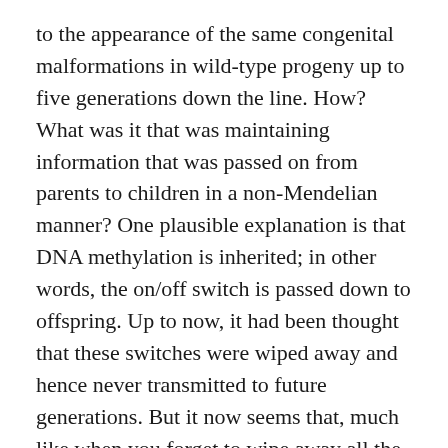to the appearance of the same congenital malformations in wild-type progeny up to five generations down the line. How? What was it that was maintaining information that was passed on from parents to children in a non-Mendelian manner? One plausible explanation is that DNA methylation is inherited; in other words, the on/off switch is passed down to offspring. Up to now, it had been thought that these switches were wiped away and hence never transmitted to future generations. But it now seems that, much like when you forget to wipe away all the chalk marks on a blackboard, some of the switches remain and are relayed to progeny through the germline. Furthermore, it seems that once an epigenetic defect is generated, it may never completely revert back to the way it was in its ancestors - which has important evolutionary repercussions.
On top of this, there seems to be a timing question, which is...